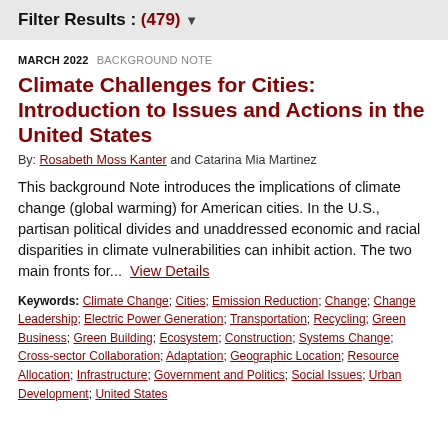Filter Results : (479) ▼
MARCH 2022  BACKGROUND NOTE
Climate Challenges for Cities: Introduction to Issues and Actions in the United States
By: Rosabeth Moss Kanter and Catarina Mia Martinez
This background Note introduces the implications of climate change (global warming) for American cities. In the U.S., partisan political divides and unaddressed economic and racial disparities in climate vulnerabilities can inhibit action. The two main fronts for...  View Details
Keywords: Climate Change; Cities; Emission Reduction; Change; Change Leadership; Electric Power Generation; Transportation; Recycling; Green Business; Green Building; Ecosystem; Construction; Systems Change; Cross-sector Collaboration; Adaptation; Geographic Location; Resource Allocation; Infrastructure; Government and Politics; Social Issues; Urban Development; United States